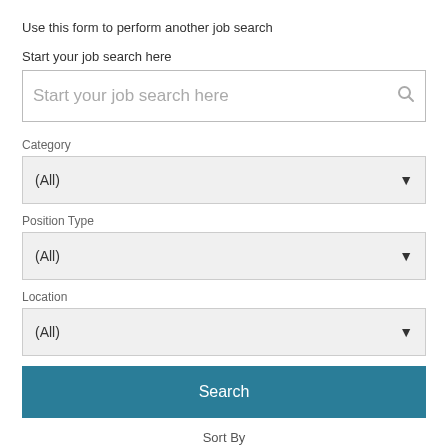Use this form to perform another job search
Start your job search here
[Figure (screenshot): Search input box with placeholder text 'Start your job search here' and a search icon on the right]
Category
[Figure (screenshot): Dropdown select box showing '(All)' with a chevron arrow]
Position Type
[Figure (screenshot): Dropdown select box showing '(All)' with a chevron arrow]
Location
[Figure (screenshot): Dropdown select box showing '(All)' with a chevron arrow]
[Figure (screenshot): Blue 'Search' button]
Sort By